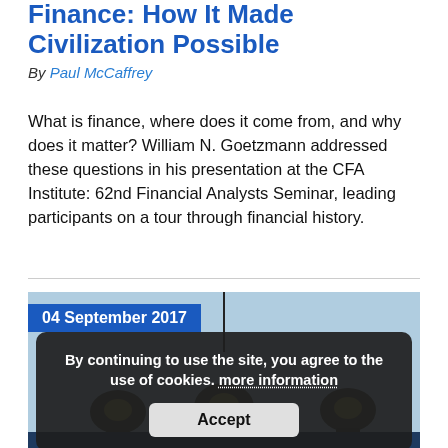Finance: How It Made Civilization Possible
By Paul McCaffrey
What is finance, where does it come from, and why does it matter? William N. Goetzmann addressed these questions in his presentation at the CFA Institute: 62nd Financial Analysts Seminar, leading participants on a tour through financial history.
[Figure (illustration): Article illustration showing lightbulb drawings on a blue background with a date badge reading '04 September 2017' and a cookie consent overlay with 'Accept' button]
By continuing to use the site, you agree to the use of cookies. more information
Accept